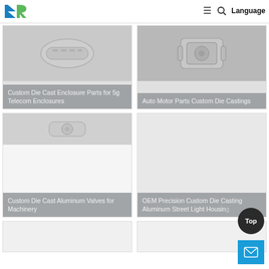[Figure (logo): KR logo with blue and green letters]
≡  🔍  Language
[Figure (photo): Custom Die Cast Enclosure Parts for 5g Telecom Enclosures - product card with gray overlay label]
Custom Die Cast Enclosure Parts for 5g Telecom Enclosures
[Figure (photo): Auto Motor Parts Custom Die Castings - product card with gray overlay label]
Auto Motor Parts Custom Die Castings
[Figure (photo): Custom Die Cast Aluminum Valves for Machinery - product card with gray overlay label]
Custom Die Cast Aluminum Valves for Machinery
[Figure (photo): OEM Precision Custom Die Casting Aluminum Street Light Housing - product card with gray overlay label]
OEM Precision Custom Die Casting Aluminum Street Light Housing
[Figure (photo): Partial product card row at bottom left]
[Figure (photo): Partial product card row at bottom right]